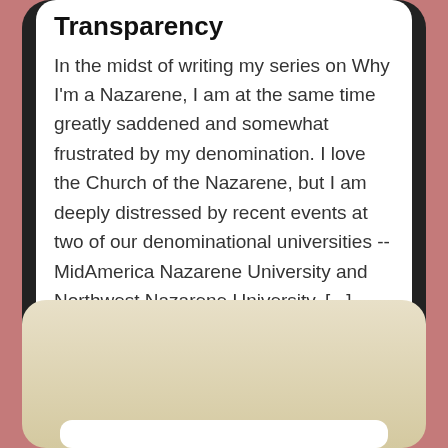Transparency
In the midst of writing my series on Why I'm a Nazarene, I am at the same time greatly saddened and somewhat frustrated by my denomination. I love the Church of the Nazarene, but I am deeply distressed by recent events at two of our denominational universities -- MidAmerica Nazarene University and Northwest Nazarene University. [...]
[Figure (photo): Partial beige/cream colored card below the main text card, on a dusty rose/mauve background]